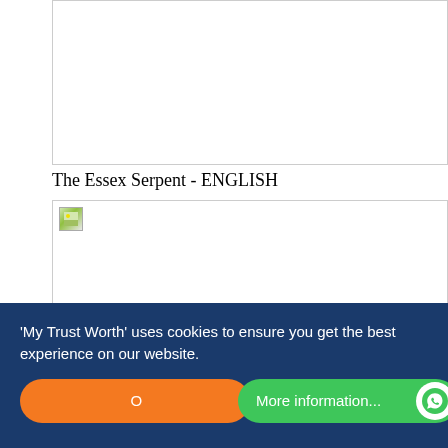[Figure (photo): Top image placeholder box, white background with border]
The Essex Serpent - ENGLISH
[Figure (photo): Bottom image placeholder box with small broken image icon in top-left corner]
'My Trust Worth' uses cookies to ensure you get the best experience on our website.
Ok  More information...